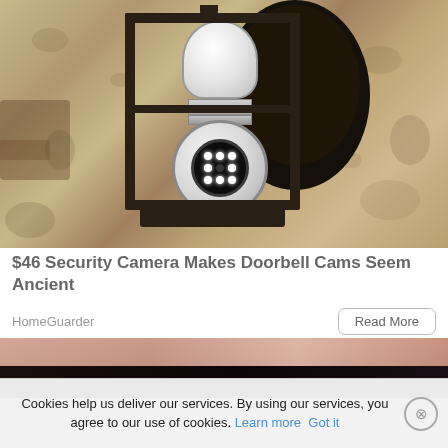[Figure (photo): A security camera disguised as a light bulb installed inside a black metal lantern fixture mounted on a rough stucco wall. The camera bulb is white with a round camera head featuring LED lights around a dark lens.]
$46 Security Camera Makes Doorbell Cams Seem Ancient
HomeGuarder
[Figure (photo): Partial image showing what appears to be a dark surface with skin tone visible — bottom portion of a second advertisement card.]
Cookies help us deliver our services. By using our services, you agree to our use of cookies. Learn more Got it